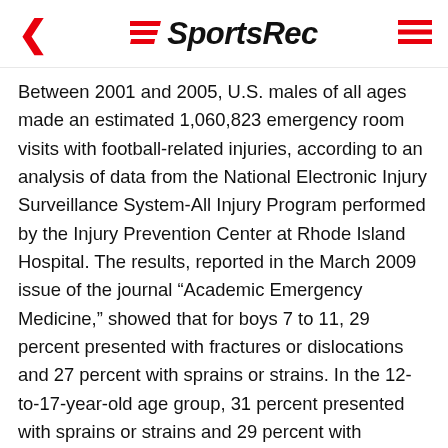SportsRec
Between 2001 and 2005, U.S. males of all ages made an estimated 1,060,823 emergency room visits with football-related injuries, according to an analysis of data from the National Electronic Injury Surveillance System-All Injury Program performed by the Injury Prevention Center at Rhode Island Hospital. The results, reported in the March 2009 issue of the journal “Academic Emergency Medicine,” showed that for boys 7 to 11, 29 percent presented with fractures or dislocations and 27 percent with sprains or strains. In the 12-to-17-year-old age group, 31 percent presented with sprains or strains and 29 percent with fractures or dislocations.
Cervical Cord Injuries